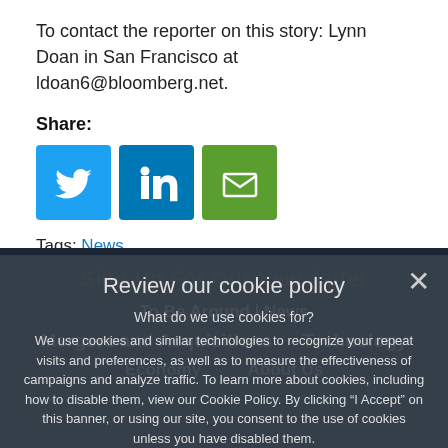To contact the reporter on this story: Lynn Doan in San Francisco at ldoan6@bloomberg.net.
Share:
[Figure (other): Social share buttons: Twitter (blue bird), LinkedIn (blue 'in'), Email (green envelope)]
Tags: News
Categories: News
Review our cookie policy
What do we use cookies for?
We use cookies and similar technologies to recognize your repeat visits and preferences, as well as to measure the effectiveness of campaigns and analyze traffic. To learn more about cookies, including how to disable them, view our Cookie Policy. By clicking "I Accept" on this banner, or using our site, you consent to the use of cookies unless you have disabled them.
Mergers and Acquisitions  Technology
Economy  About Us